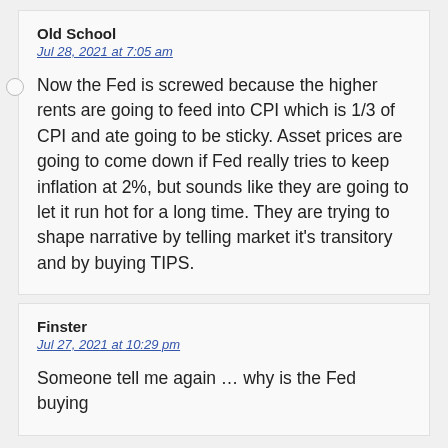Old School
Jul 28, 2021 at 7:05 am
Now the Fed is screwed because the higher rents are going to feed into CPI which is 1/3 of CPI and ate going to be sticky. Asset prices are going to come down if Fed really tries to keep inflation at 2%, but sounds like they are going to let it run hot for a long time. They are trying to shape narrative by telling market it's transitory and by buying TIPS.
Finster
Jul 27, 2021 at 10:29 pm
Someone tell me again … why is the Fed buying